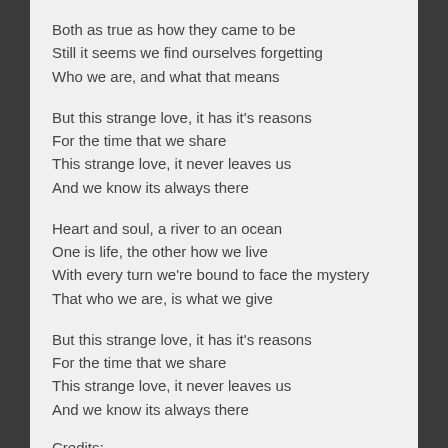Both as true as how they came to be
Still it seems we find ourselves forgetting
Who we are, and what that means
But this strange love, it has it's reasons
For the time that we share
This strange love, it never leaves us
And we know its always there
Heart and soul, a river to an ocean
One is life, the other how we live
With every turn we're bound to face the mystery
That who we are, is what we give
But this strange love, it has it's reasons
For the time that we share
This strange love, it never leaves us
And we know its always there
Credits: